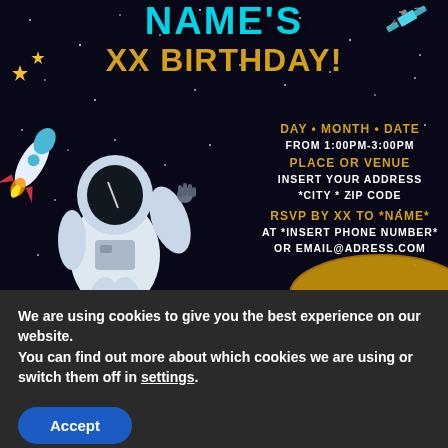[Figure (illustration): Space-themed birthday party invitation with dark starfield background, astronaut on left side waving, rocket ship, satellite, and planet elements. Text overlay with party details.]
NAME'S XX BIRTHDAY!
DAY • MONTH • DATE
FROM 1:00PM-3:00PM
PLACE OR VENUE
INSERT YOUR ADDRESS
*CITY * ZIP CODE
RSVP BY XX TO *NAME*
AT *INSERT PHONE NUMBER*
OR EMAIL@ADRESS.COM
We are using cookies to give you the best experience on our website.
You can find out more about which cookies we are using or switch them off in settings.
Accept